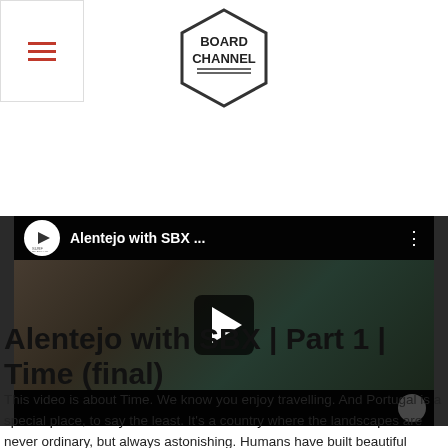[Figure (logo): Board Channel hexagonal logo with text BOARD CHANNEL]
[Figure (screenshot): YouTube video embed showing 'Alentejo with SBX ...' with Surfbenelux channel icon, play button, and video thumbnail of coastal landscape]
Alentejo with SBX | Part 1 | Time (final)
This video is about Time. We know you enjoy travelling. And Portugal is a special place, to say the least. It's a country where the landscapes are never ordinary, but always astonishing. Humans have built beautiful things in this country, yet nature simply decided to be even more beautiful. Discover this country's unique charms. The mild climate, a coastline of splendid beaches, a highly diversified range of